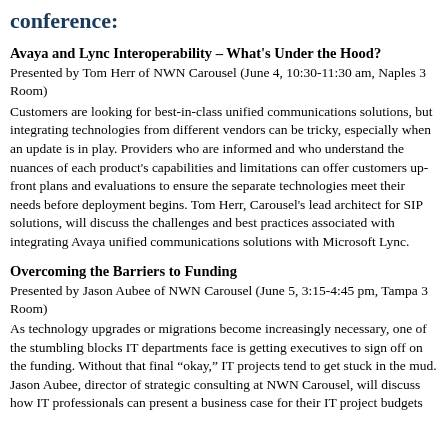conference:
Avaya and Lync Interoperability – What's Under the Hood?
Presented by Tom Herr of NWN Carousel (June 4, 10:30-11:30 am, Naples 3 Room)
Customers are looking for best-in-class unified communications solutions, but integrating technologies from different vendors can be tricky, especially when an update is in play. Providers who are informed and who understand the nuances of each product's capabilities and limitations can offer customers up-front plans and evaluations to ensure the separate technologies meet their needs before deployment begins. Tom Herr, Carousel's lead architect for SIP solutions, will discuss the challenges and best practices associated with integrating Avaya unified communications solutions with Microsoft Lync.
Overcoming the Barriers to Funding
Presented by Jason Aubee of NWN Carousel (June 5, 3:15-4:45 pm, Tampa 3 Room)
As technology upgrades or migrations become increasingly necessary, one of the stumbling blocks IT departments face is getting executives to sign off on the funding. Without that final “okay,” IT projects tend to get stuck in the mud. Jason Aubee, director of strategic consulting at NWN Carousel, will discuss how IT professionals can present a business case for their IT project budgets